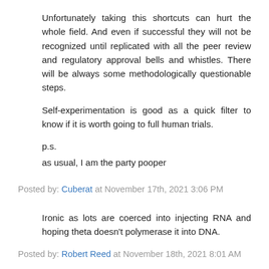Unfortunately taking this shortcuts can hurt the whole field. And even if successful they will not be recognized until replicated with all the peer review and regulatory approval bells and whistles. There will be always some methodologically questionable steps.
Self-experimentation is good as a quick filter to know if it is worth going to full human trials.
p.s.
as usual, I am the party pooper
Posted by: Cuberat at November 17th, 2021 3:06 PM
Ironic as lots are coerced into injecting RNA and hoping theta doesn't polymerase it into DNA.
Posted by: Robert Reed at November 18th, 2021 8:01 AM